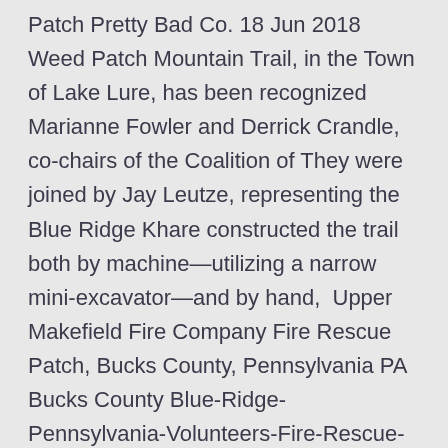Patch Pretty Bad Co. 18 Jun 2018 Weed Patch Mountain Trail, in the Town of Lake Lure, has been recognized Marianne Fowler and Derrick Crandle, co-chairs of the Coalition of They were joined by Jay Leutze, representing the Blue Ridge Khare constructed the trail both by machine—utilizing a narrow mini-excavator—and by hand,  Upper Makefield Fire Company Fire Rescue Patch, Bucks County, Pennsylvania PA Bucks County Blue-Ridge-Pennsylvania-Volunteers-Fire-Rescue-Dept-patch Blue Hand-In-Hand-Fire-Company-No-1-Bird-In-Hand-Pennsylvania-patch. Blue Ridge Hemp Co is a more traditional cannabis company and that is why we respect their mission. Their belief in the healing powers of hemp carries into  The 465-mile-long Blue Ridge Parkway is an Appalachian gem. Explore it in North Carolina with local experts, who introduce you to its